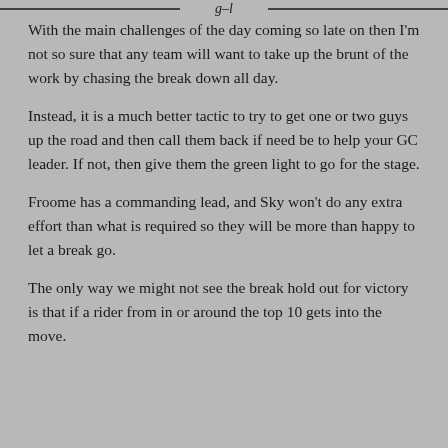With the main challenges of the day coming so late on then I'm not so sure that any team will want to take up the brunt of the work by chasing the break down all day.
Instead, it is a much better tactic to try to get one or two guys up the road and then call them back if need be to help your GC leader. If not, then give them the green light to go for the stage.
Froome has a commanding lead, and Sky won't do any extra effort than what is required so they will be more than happy to let a break go.
The only way we might not see the break hold out for victory is that if a rider from in or around the top 10 gets into the move.